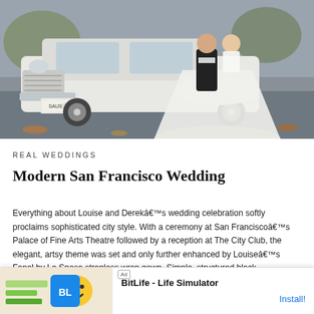[Figure (photo): Wedding photo showing a bride in a white gown and groom in black tuxedo by a vintage white car with license plate SAUS 59, parked on a road with autumn leaves]
REAL WEDDINGS
Modern San Francisco Wedding
Everything about Louise and Derekâ€™s wedding celebration softly proclaims sophisticated city style. With a ceremony at San Franciscoâ€™s Palace of Fine Arts Theatre followed by a reception at The City Club, the elegant, artsy theme was set and only further enhanced by Louiseâ€™s Fanal by La Sposa strapless wrap gown. Simple, structured black bridesmaids dresses from Ann Taylor were striking against the sunset-colored flowers and bouquets from Flowers by Dâ€™aria Rose. A bold orange-and-yellow rose-adorned cascaded down an understated tiered cake by Jasmine … re that the coup… hese
[Figure (other): Ad banner: BitLife - Life Simulator app advertisement with Install! button]